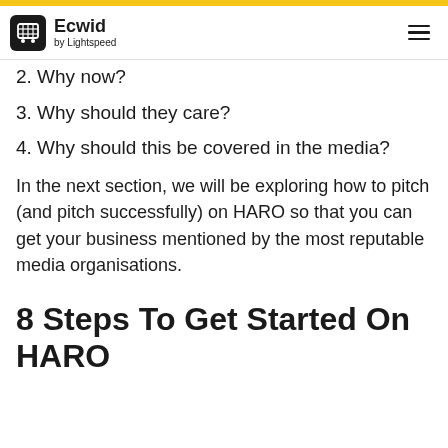Ecwid by Lightspeed
2. Why now?
3. Why should they care?
4. Why should this be covered in the media?
In the next section, we will be exploring how to pitch (and pitch successfully) on HARO so that you can get your business mentioned by the most reputable media organisations.
8 Steps To Get Started On HARO